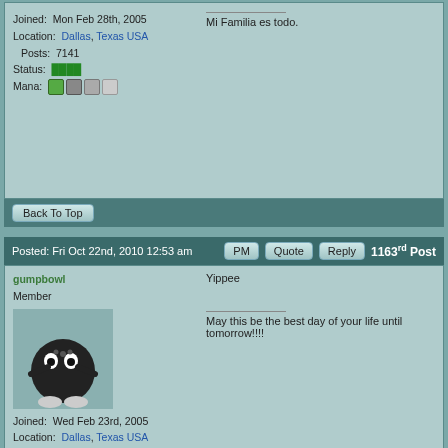Joined: Mon Feb 28th, 2005
Location: Dallas, Texas USA
Posts: 7141
Status:
Mana:
Mi Familia es todo.
Back To Top
Posted: Fri Oct 22nd, 2010 12:53 am  PM  Quote  Reply  1163rd Post
gumpbowl
Member
Yippee

May this be the best day of your life until tomorrow!!!!
Joined: Wed Feb 23rd, 2005
Location: Dallas, Texas USA
Posts: 17069
Status: Offline
Mana:
Back To Top
Posted: Fri Oct 22nd, 2010 07:32 pm  PM  Quote  Reply  1164th Post
Ninja Kat
sasha and oliver's mom
Whatever.....you liked it! : )